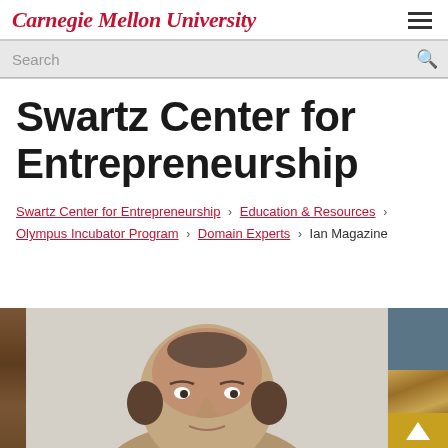Carnegie Mellon University
Swartz Center for Entrepreneurship
Swartz Center for Entrepreneurship › Education & Resources › Olympus Incubator Program › Domain Experts › Ian Magazine
[Figure (photo): Portrait photo of Ian Magazine, a bald man, partially visible from the head up, with decorative wooden frame elements on left and right sides of the image]